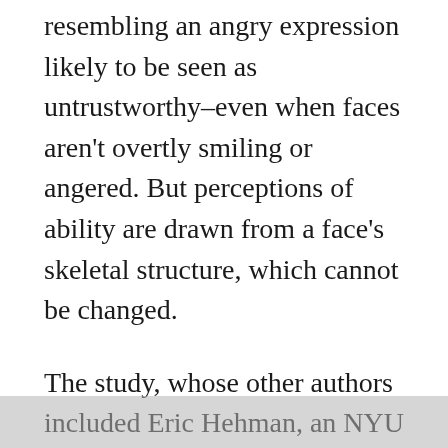resembling an angry expression likely to be seen as untrustworthy–even when faces aren't overtly smiling or angered. But perceptions of ability are drawn from a face's skeletal structure, which cannot be changed.
The study, whose other authors included Eric Hehman, an NYU post-doctoral researcher, and Jessica Flake, a doctoral candidate at the University of Connecticut, employed four experiments in which female and male subjects examined both photos and computer-generated images of adult males.